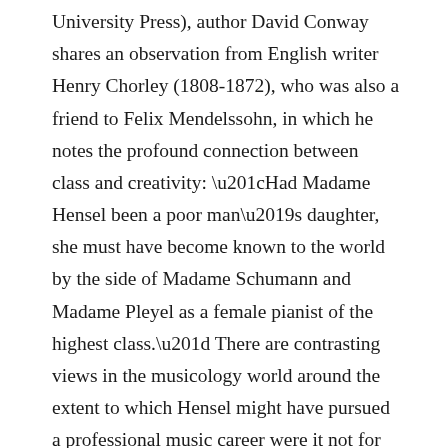University Press), author David Conway shares an observation from English writer Henry Chorley (1808-1872), who was also a friend to Felix Mendelssohn, in which he notes the profound connection between class and creativity: “Had Madame Hensel been a poor man’s daughter, she must have become known to the world by the side of Madame Schumann and Madame Pleyel as a female pianist of the highest class.” There are contrasting views in the musicology world around the extent to which Hensel might have pursued a professional music career were it not for the limitations of her social class and the times in which she lived.
Through such debates, one is bound to consider a broad range of circumstances, some of which was paid for by